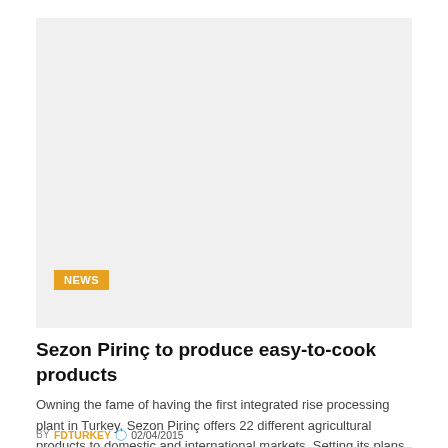[Figure (photo): Gray placeholder image area for news article]
NEWS
Sezon Pirinç to produce easy-to-cook products
Owning the fame of having the first integrated rise processing plant in Turkey, Sezon Pirinç offers 22 different agricultural products to domestic and international markets. Setting its plans for especially increasing its exports Sezon target to realize 10...
BY FDTURKEY  02/04/2015